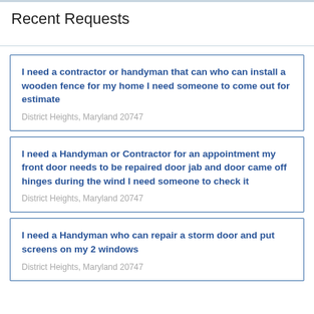Recent Requests
I need a contractor or handyman that can who can install a wooden fence for my home I need someone to come out for estimate
District Heights, Maryland 20747
I need a Handyman or Contractor for an appointment my front door needs to be repaired door jab and door came off hinges during the wind I need someone to check it
District Heights, Maryland 20747
I need a Handyman who can repair a storm door and put screens on my 2 windows
District Heights, Maryland 20747